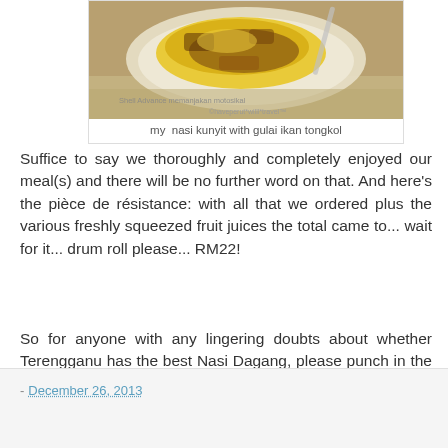[Figure (photo): Photo of nasi kunyit with gulai ikan tongkol on a white plate, with newspaper underneath and watermark text visible]
my  nasi kunyit with gulai ikan tongkol
Suffice to say we thoroughly and completely enjoyed our meal(s) and there will be no further word on that. And here's the pièce de résistance: with all that we ordered plus the various freshly squeezed fruit juices the total came to... wait for it... drum roll please... RM22!
So for anyone with any lingering doubts about whether Terengganu has the best Nasi Dagang, please punch in the coordinates provided above, order yourselves a plate and prepare to be converted.
- December 26, 2013